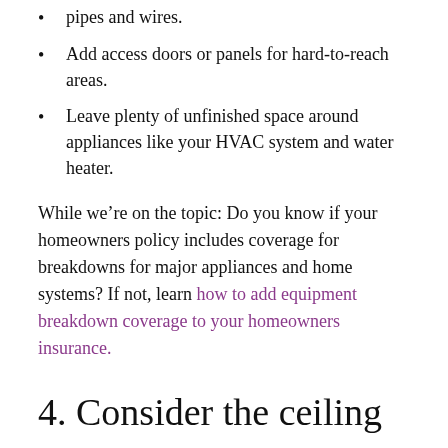pipes and wires.
Add access doors or panels for hard-to-reach areas.
Leave plenty of unfinished space around appliances like your HVAC system and water heater.
While we’re on the topic: Do you know if your homeowners policy includes coverage for breakdowns for major appliances and home systems? If not, learn how to add equipment breakdown coverage to your homeowners insurance.
4. Consider the ceiling